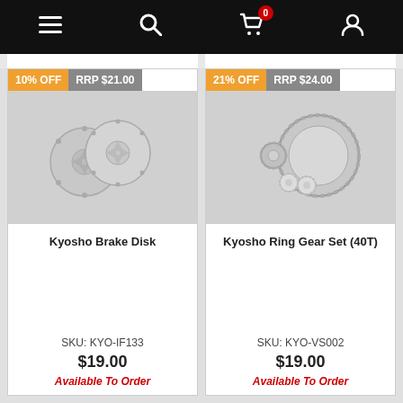Navigation bar with menu, search, cart (0 items), and account icons
[Figure (photo): Kyosho Brake Disk product image - two circular metal brake disks on gray background]
10% OFF   RRP $21.00
Kyosho Brake Disk
SKU: KYO-IF133
$19.00
Available To Order
[Figure (photo): Kyosho Ring Gear Set (40T) product image - gear components on gray background]
21% OFF   RRP $24.00
Kyosho Ring Gear Set (40T)
SKU: KYO-VS002
$19.00
Available To Order